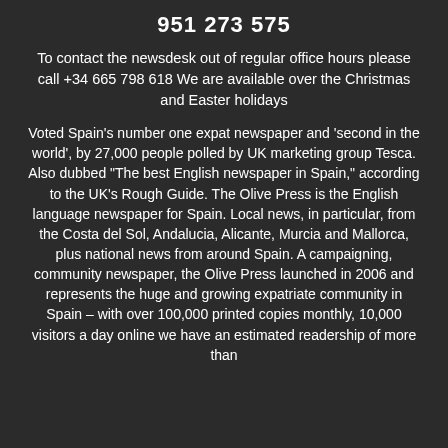951 273 575
To contact the newsdesk out of regular office hours please call +34 665 798 618 We are available over the Christmas and Easter holidays
Voted Spain’s number one expat newspaper and ‘second in the world’, by 27,000 people polled by UK marketing group Tesca. Also dubbed “The best English newspaper in Spain,” according to the UK’s Rough Guide. The Olive Press is the English language newspaper for Spain. Local news, in particular, from the Costa del Sol, Andalucia, Alicante, Murcia and Mallorca, plus national news from around Spain. A campaigning, community newspaper, the Olive Press launched in 2006 and represents the huge and growing expatriate community in Spain – with over 100,000 printed copies monthly, 10,000 visitors a day online we have an estimated readership of more than